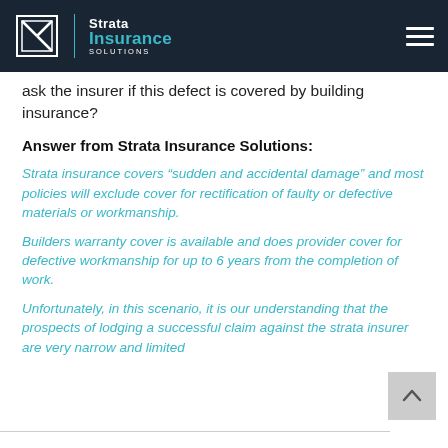Strata Insurance Solutions
ask the insurer if this defect is covered by building insurance?
Answer from Strata Insurance Solutions:
Strata insurance covers “sudden and accidental damage” and most policies will exclude cover for rectification of faulty or defective materials or workmanship.
Builders warranty cover is available and does provider cover for defective workmanship for up to 6 years from the completion of work.
Unfortunately, in this scenario, it is our understanding that the prospects of lodging a successful claim against the strata insurer are very narrow and limited